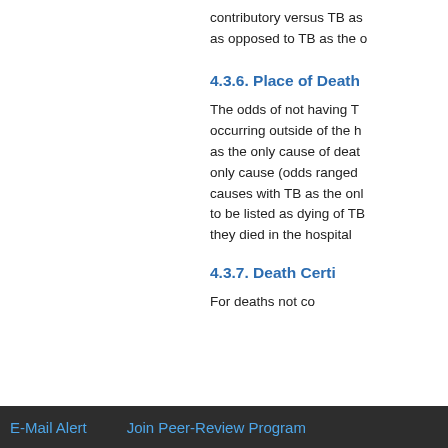contributory versus TB as as opposed to TB as the o
4.3.6. Place of Death
The odds of not having T occurring outside of the h as the only cause of deat only cause (odds ranged causes with TB as the onl to be listed as dying of TB they died in the hospital
4.3.7. Death Certi
For deaths not co
Top
ABSTRACT
Introduction
Literature Review
Materials and Methods
Results
E-Mail Alert   Join Peer-Review Program